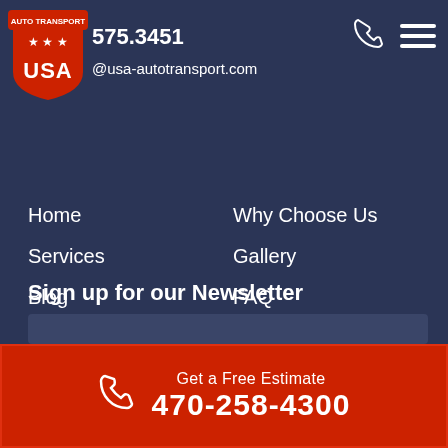[Figure (logo): USA Auto Transport shield logo with stars]
575.3451
@usa-autotransport.com
Home
Why Choose Us
Services
Gallery
Blog
FAQ
Testimonials
Contact Us
Tracking
Privacy Policy
About
Sign up for our Newsletter
Get a Free Estimate 470-258-4300